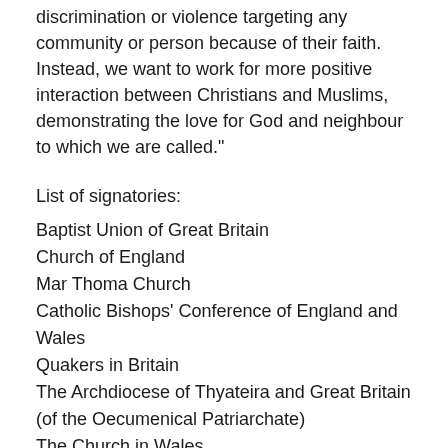discrimination or violence targeting any community or person because of their faith. Instead, we want to work for more positive interaction between Christians and Muslims, demonstrating the love for God and neighbour to which we are called."
List of signatories:
Baptist Union of Great Britain
Church of England
Mar Thoma Church
Catholic Bishops' Conference of England and Wales
Quakers in Britain
The Archdiocese of Thyateira and Great Britain (of the Oecumenical Patriarchate)
The Church in Wales
The Church of Scotland
The Council of African and Caribbean Churches
The Methodist Church in Britain
The Moravian Church in Great Britain
The Salvation Army